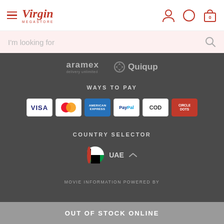Virgin Megastore — navigation header
I'm looking for
[Figure (logo): Aramex delivery unlimited logo and Quiqup logo on dark background]
WAYS TO PAY
[Figure (infographic): Payment method icons: VISA, Mastercard, American Express, PayPal, COD, CircleDots on white cards]
COUNTRY SELECTOR
[Figure (infographic): UAE flag circle with UAE text and up chevron]
MOVIE INFORMATION POWERED BY
OUT OF STOCK ONLINE